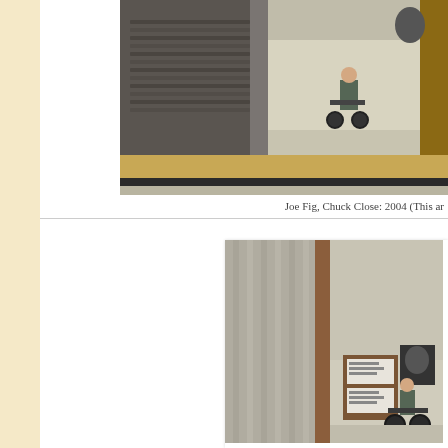[Figure (photo): Interior architectural model or rendering showing a figure in a wheelchair inside a room with wooden shingle wall, viewed from outside through an opening. The space has light-colored flooring and a wooden deck/platform edge in the foreground.]
Joe Fig, Chuck Close: 2004 (This ar
[Figure (photo): Second view of an interior architectural model or rendering showing a figure in a wheelchair inside a room, viewed from a different angle. The space shows a doorway, wall with artwork/frames, and light interior.]